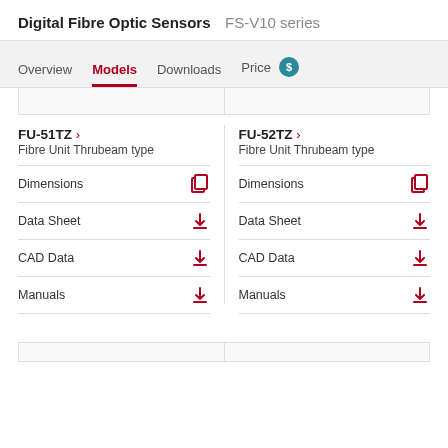Digital Fibre Optic Sensors  FS-V10 series
Overview  Models  Downloads  Price
FU-51TZ › Fibre Unit Thrubeam type — Dimensions, Data Sheet, CAD Data, Manuals
FU-52TZ › Fibre Unit Thrubeam type — Dimensions, Data Sheet, CAD Data, Manuals